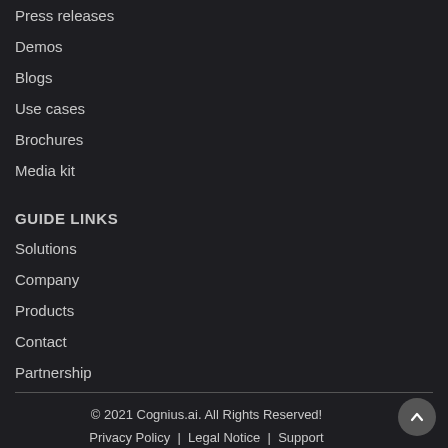Press releases
Demos
Blogs
Use cases
Brochures
Media kit
GUIDE LINKS
Solutions
Company
Products
Contact
Partnership
© 2021 Cognius.ai. All Rights Reserved!
Privacy Policy  |  Legal Notice  |  Support